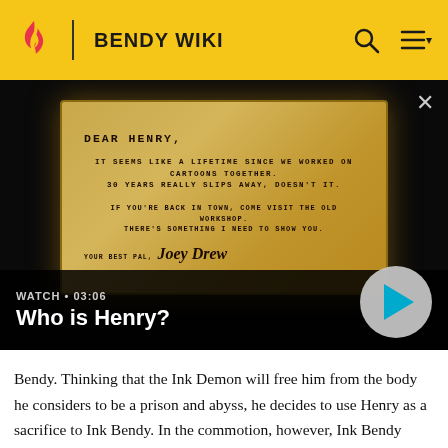BENDY WIKI
[Figure (screenshot): Video thumbnail showing a yellowed letter reading 'DEAR HENRY. IT SEEMS LIKE A LIFETIME SINCE WE WORKED ON CARTOONS TOGETHER. 30 YEARS REALLY SLIPS AWAY, DOESN'T IT. IF YOU'RE BACK IN TOWN, COME VISIT THE OLD WORKSHOP. THERE'S SOMETHING I NEED TO SHOW YOU. YOUR BEST PAL, Joey Drew' with a play button overlay. Label reads: WATCH • 03:06 / Who is Henry?]
Bendy. Thinking that the Ink Demon will free him from the body he considers to be a prison and abyss, he decides to use Henry as a sacrifice to Ink Bendy. In the commotion, however, Ink Bendy turns on Sammy and attacks him, given Henry the distraction he needs to escape by